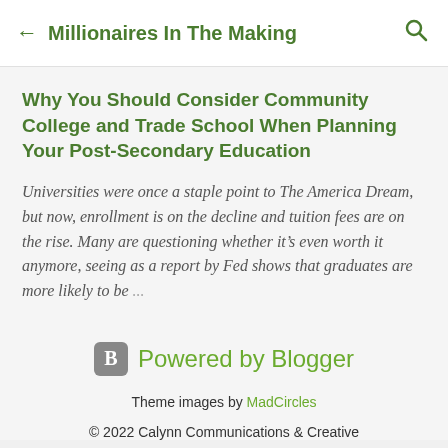Millionaires In The Making
Why You Should Consider Community College and Trade School When Planning Your Post-Secondary Education
Universities were once a staple point to The America Dream, but now, enrollment is on the decline and tuition fees are on the rise. Many are questioning whether it’s even worth it anymore, seeing as a report by Fed shows that graduates are more likely to be ...
[Figure (logo): Powered by Blogger logo with Blogger icon]
Theme images by MadCircles
© 2022 Calynn Communications & Creative